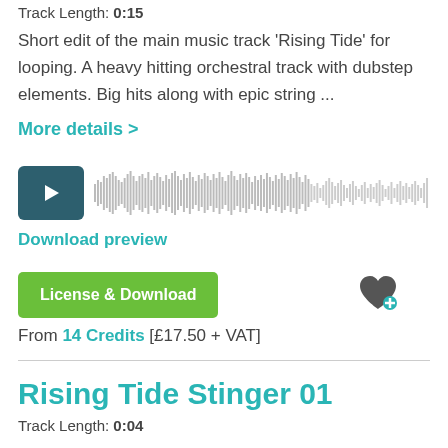Track Length: 0:15
Short edit of the main music track 'Rising Tide' for looping. A heavy hitting orchestral track with dubstep elements. Big hits along with epic string ...
More details >
[Figure (other): Audio player with dark teal play button and grey waveform visualization]
Download preview
License & Download
From 14 Credits [£17.50 + VAT]
Rising Tide Stinger 01
Track Length: 0:04